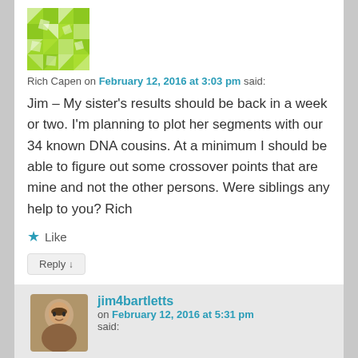[Figure (photo): Avatar image for Rich Capen — green and white geometric pattern]
Rich Capen on February 12, 2016 at 3:03 pm said:
Jim – My sister's results should be back in a week or two. I'm planning to plot her segments with our 34 known DNA cousins. At a minimum I should be able to figure out some crossover points that are mine and not the other persons. Were siblings any help to you? Rich
★ Like
Reply ↓
jim4bartletts on February 12, 2016 at 5:31 pm said:
A little… I haven't worked my brothers atDNA that hard. The main help he